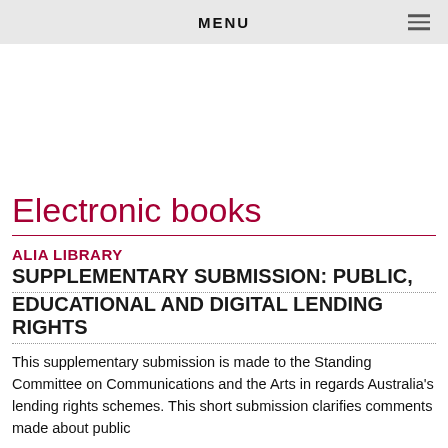MENU
Electronic books
ALIA LIBRARY
SUPPLEMENTARY SUBMISSION: PUBLIC, EDUCATIONAL AND DIGITAL LENDING RIGHTS
This supplementary submission is made to the Standing Committee on Communications and the Arts in regards Australia's lending rights schemes. This short submission clarifies comments made about public